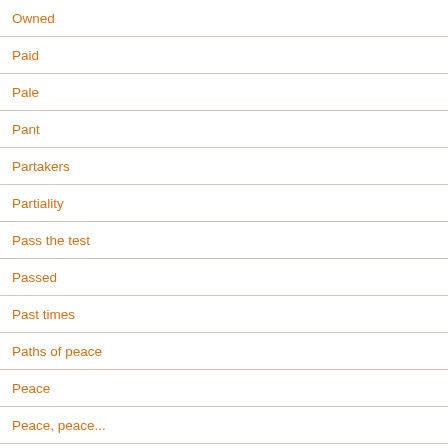Owned
Paid
Pale
Pant
Partakers
Partiality
Pass the test
Passed
Past times
Paths of peace
Peace
Peace, peace...